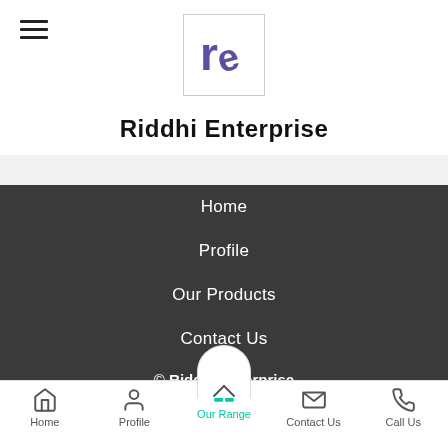[Figure (logo): Riddhi Enterprise logo: stylized 're' letters in purple/indigo inside a square bordered box]
Riddhi Enterprise
Home
Profile
Our Products
Contact Us
Share via
© Riddhi Enterprise
Home   Profile   Our Range   Contact Us   Call Us